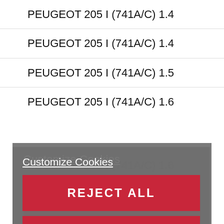PEUGEOT 205 I (741A/C) 1.4
PEUGEOT 205 I (741A/C) 1.4
PEUGEOT 205 I (741A/C) 1.5
PEUGEOT 205 I (741A/C) 1.6
[Figure (screenshot): Cookie consent modal overlay with 'Customize Cookies' link, 'REJECT ALL' red button, and a second red button (text not visible)]
PEUGEOT 205 I (741A/C) 1.6 GTI
PEUGEOT 205 I (741A/C) 1.7 Diesel
PEUGEOT 205 I (741A/C) 1.8 Rally
PEUGEOT 205 I (741A/C) 1.8 Rally 4x4